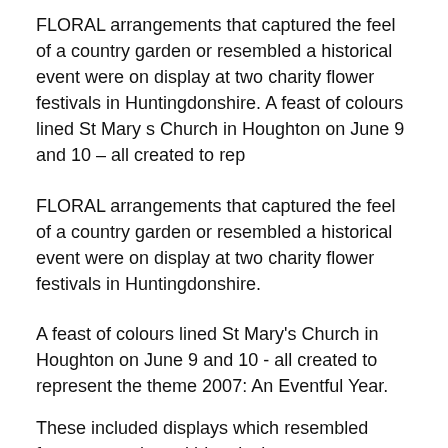FLORAL arrangements that captured the feel of a country garden or resembled a historical event were on display at two charity flower festivals in Huntingdonshire. A feast of colours lined St Mary s Church in Houghton on June 9 and 10 – all created to rep
FLORAL arrangements that captured the feel of a country garden or resembled a historical event were on display at two charity flower festivals in Huntingdonshire.
A feast of colours lined St Mary's Church in Houghton on June 9 and 10 - all created to represent the theme 2007: An Eventful Year.
These included displays which resembled famous people and historical events.